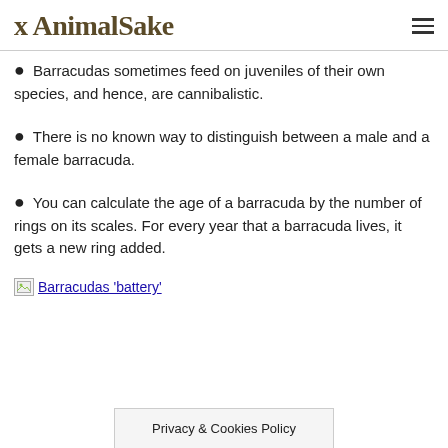AnimalSake
Barracudas sometimes feed on juveniles of their own species, and hence, are cannibalistic.
There is no known way to distinguish between a male and a female barracuda.
You can calculate the age of a barracuda by the number of rings on its scales. For every year that a barracuda lives, it gets a new ring added.
[Figure (other): Broken image link with text 'Barracudas battery']
Privacy & Cookies Policy